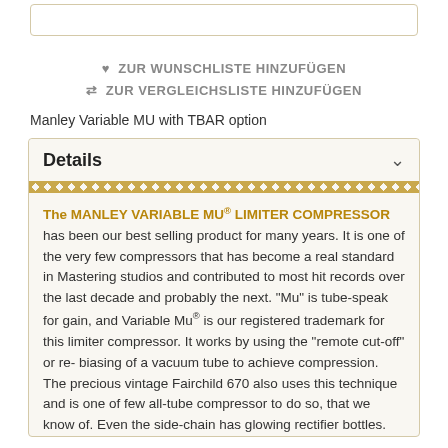ZUR WUNSCHLISTE HINZUFÜGEN
ZUR VERGLEICHSLISTE HINZUFÜGEN
Manley Variable MU with TBAR option
Details
The MANLEY VARIABLE MU® LIMITER COMPRESSOR has been our best selling product for many years. It is one of the very few compressors that has become a real standard in Mastering studios and contributed to most hit records over the last decade and probably the next. "Mu" is tube-speak for gain, and Variable Mu® is our registered trademark for this limiter compressor. It works by using the "remote cut-off" or re-biasing of a vacuum tube to achieve compression. The precious vintage Fairchild 670 also uses this technique and is one of few all-tube compressor to do so, that we know of. Even the side-chain has glowing rectifier bottles.